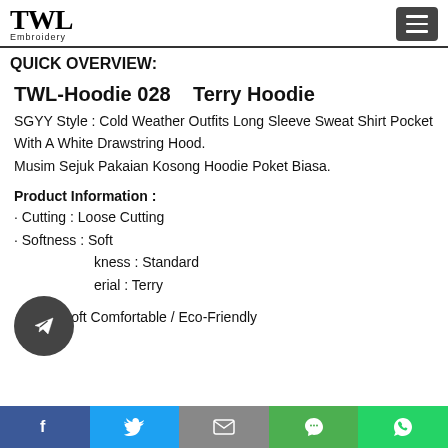TWL Embroidery
QUICK OVERVIEW:
TWL-Hoodie 028    Terry Hoodie
SGYY Style : Cold Weather Outfits Long Sleeve Sweat Shirt Pocket With A White Drawstring Hood.
Musim Sejuk Pakaian Kosong Hoodie Poket Biasa.
Product Information :
· Cutting : Loose Cutting
· Softness : Soft
· Thickness : Standard
· Material : Terry
✔ Very Soft Comfortable / Eco-Friendly